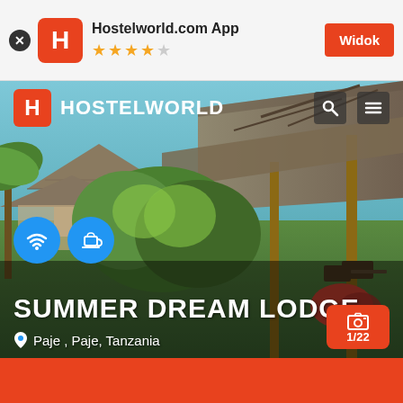[Figure (screenshot): App store banner for Hostelworld.com App with orange H logo, 4.5 star rating, and Widok button]
[Figure (photo): Photograph of Summer Dream Lodge in Paje, Tanzania showing thatched roof bungalows with tropical vegetation]
SUMMER DREAM LODGE
Paje , Paje, Tanzania